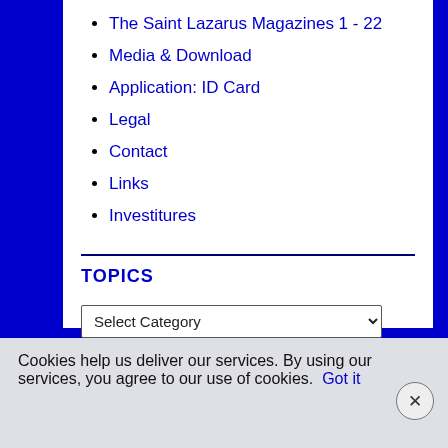The Saint Lazarus Magazines 1 - 22
Media & Download
Application: ID Card
Legal
Contact
Links
Investitures
TOPICS
Select Category
Cookies help us deliver our services. By using our services, you agree to our use of cookies. Got it